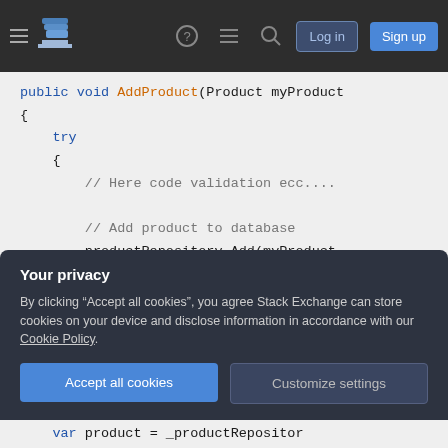Stack Overflow navigation bar with hamburger menu, logo, help, chat, search icons, Log in and Sign up buttons
[Figure (screenshot): Code snippet showing a C# method AddProduct with try-catch block. The code includes: public void AddProduct(Product myProduct), try block with comment '// Here code validation ecc....', '// Add product to database', 'productRepository.Add(myProduct', catch(Exception e) block with '// Handle exception', closing braces.]
Your privacy
By clicking "Accept all cookies", you agree Stack Exchange can store cookies on your device and disclose information in accordance with our Cookie Policy.
Accept all cookies
Customize settings
var product = _productRepositor